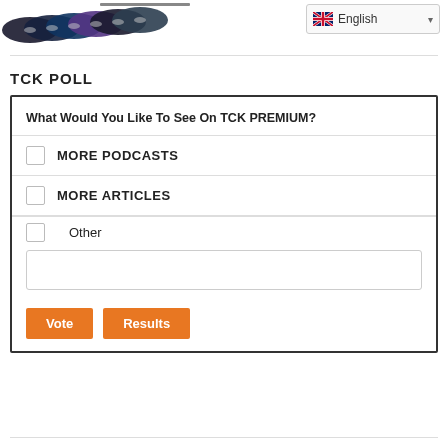[Figure (illustration): Stack of CDs/DVDs discs visible at top left]
[Figure (screenshot): Language selector dropdown showing English with UK flag]
TCK POLL
What Would You Like To See On TCK PREMIUM?
MORE PODCASTS
MORE ARTICLES
Other
Vote   Results